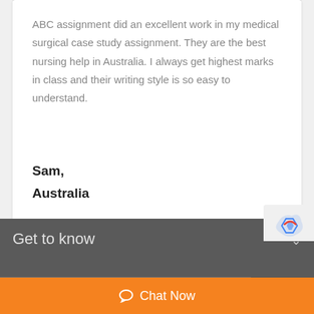ABC assignment did an excellent work in my medical surgical case study assignment. They are the best nursing help in Australia. I always get highest marks in class and their writing style is so easy to understand.
Sam,
Australia
View All
Get to know
Chat Now